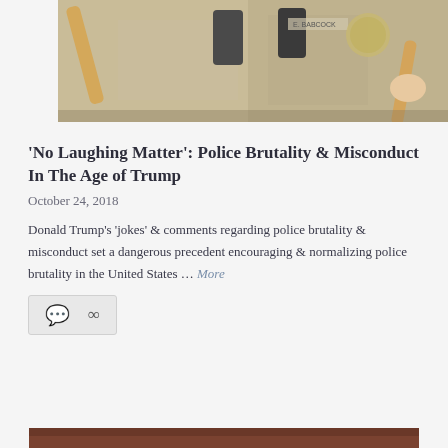[Figure (photo): Police officers in tan/khaki uniforms holding batons, close-up torso shot]
'No Laughing Matter': Police Brutality & Misconduct In The Age of Trump
October 24, 2018
Donald Trump's 'jokes' & comments regarding police brutality & misconduct set a dangerous precedent encouraging & normalizing police brutality in the United States … More
[Figure (photo): Bottom strip of another article image, partially visible, dark reddish-brown tones]